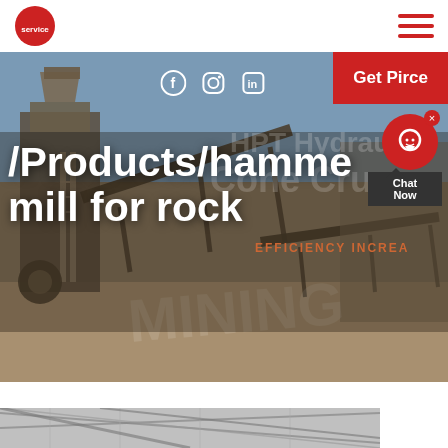service [logo] [hamburger menu]
[Figure (photo): Industrial mining/crushing plant with conveyor belts and heavy equipment photographed outdoors]
/ Products / hammer mill for rock
HPT Hydraulic Cone Crusher
EFFICIENCY INCREA[SE]
Get Pirce
Chat Now
[Figure (photo): Interior of industrial facility with structural steel framework visible at bottom of page]